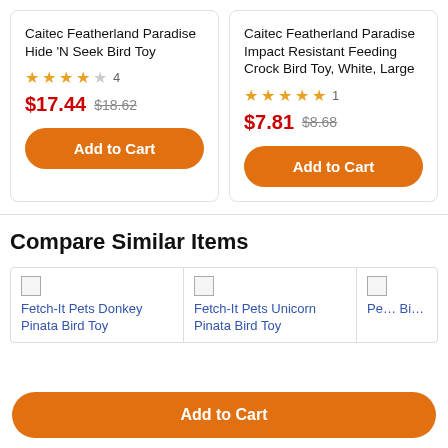Caitec Featherland Paradise Hide 'N Seek Bird Toy
★★★★☆ 4  $17.44 $18.62
Caitec Featherland Paradise Impact Resistant Feeding Crock Bird Toy, White, Large
★★★★★ 1  $7.81 $8.68
Compare Similar Items
Fetch-It Pets Donkey Pinata Bird Toy
Fetch-It Pets Unicorn Pinata Bird Toy
Pe... Bi...